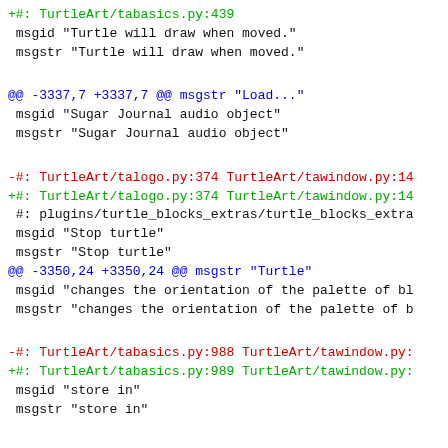+#: TurtleArt/tabasics.py:439
 msgid "Turtle will draw when moved."
 msgstr "Turtle will draw when moved."
@@ -3337,7 +3337,7 @@ msgstr "Load..."
 msgid "Sugar Journal audio object"
 msgstr "Sugar Journal audio object"
-#: TurtleArt/talogo.py:374 TurtleArt/tawindow.py:14
+#: TurtleArt/talogo.py:374 TurtleArt/tawindow.py:14
 #: plugins/turtle_blocks_extras/turtle_blocks_extra
 msgid "Stop turtle"
 msgstr "Stop turtle"
@@ -3350,24 +3350,24 @@ msgstr "Turtle"
 msgid "changes the orientation of the palette of bl
 msgstr "changes the orientation of the palette of b"
-#: TurtleArt/tabasics.py:988 TurtleArt/tawindow.py:
+#: TurtleArt/tabasics.py:989 TurtleArt/tawindow.py:
 msgid "store in"
 msgstr "store in"
-#: TurtleArt/talogo.py:388 TurtleArtActivity.py:396
+#: TurtleArt/talogo.py:388 TurtleArtActivity.py:413
 msgid "Hide blocks"
 msgstr "Hide blocks"
-#: TurtleArtActivity.py:811 TurtleArtActivity.py:10
-#: TurtleArtActivity.py:1038
+#: TurtleArtActivity.py:828 TurtleArtActivity.py:10